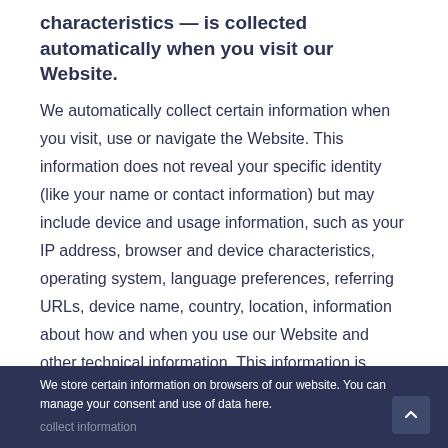characteristics — is collected automatically when you visit our Website.
We automatically collect certain information when you visit, use or navigate the Website. This information does not reveal your specific identity (like your name or contact information) but may include device and usage information, such as your IP address, browser and device characteristics, operating system, language preferences, referring URLs, device name, country, location, information about how and when you use our Website and other technical information. This information is primarily needed to maintain the security and operation of our Website, and for our internal analytics and reporting purposes.
We store certain information on browsers of our website. You can manage your consent and use of data here.